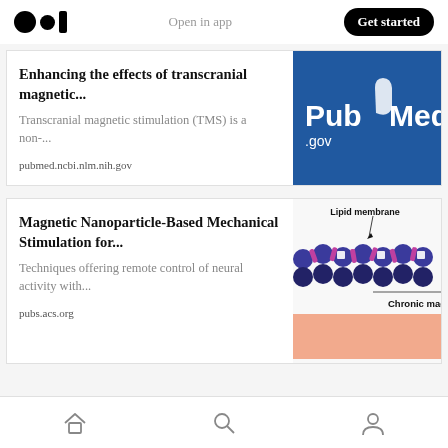Open in app | Get started
Enhancing the effects of transcranial magnetic...
Transcranial magnetic stimulation (TMS) is a non-...
pubmed.ncbi.nlm.nih.gov
[Figure (logo): PubMed.gov logo on blue background]
Magnetic Nanoparticle-Based Mechanical Stimulation for...
Techniques offering remote control of neural activity with...
pubs.acs.org
[Figure (illustration): Diagram showing lipid membrane with magnetic nanoparticles and chronic magnet label, with pink/salmon colored band at bottom]
Home | Search | Profile